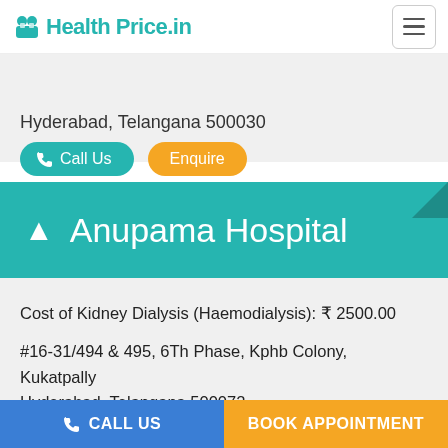Health Price.in
Hyderabad, Telangana 500030
Call Us   Enquire
Anupama Hospital
Cost of Kidney Dialysis (Haemodialysis): ₹ 2500.00
#16-31/494 & 495, 6Th Phase, Kphb Colony, Kukatpally
Hyderabad, Telangana 500072
CALL US   BOOK APPOINTMENT